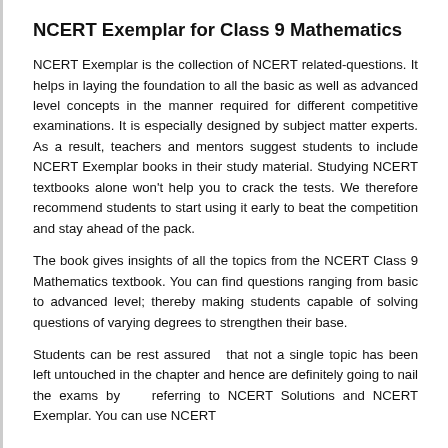NCERT Exemplar for Class 9 Mathematics
NCERT Exemplar is the collection of NCERT related-questions. It helps in laying the foundation to all the basic as well as advanced level concepts in the manner required for different competitive examinations. It is especially designed by subject matter experts. As a result, teachers and mentors suggest students to include NCERT Exemplar books in their study material. Studying NCERT textbooks alone won't help you to crack the tests. We therefore recommend students to start using it early to beat the competition and stay ahead of the pack.
The book gives insights of all the topics from the NCERT Class 9 Mathematics textbook. You can find questions ranging from basic to advanced level; thereby making students capable of solving questions of varying degrees to strengthen their base.
Students can be rest assured  that not a single topic has been left untouched in the chapter and hence are definitely going to nail the exams by   referring to NCERT Solutions and NCERT Exemplar. You can use NCERT